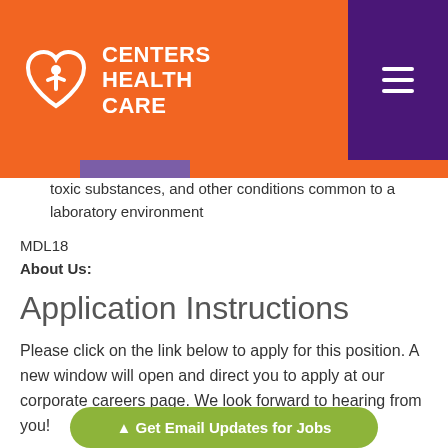Centers Health Care
toxic substances, and other conditions common to a laboratory environment
MDL18
About Us:
Application Instructions
Please click on the link below to apply for this position. A new window will open and direct you to apply at our corporate careers page. We look forward to hearing from you!
Apply Online
Share this Job
Cedar Kn
▲ Get Email Updates for Jobs